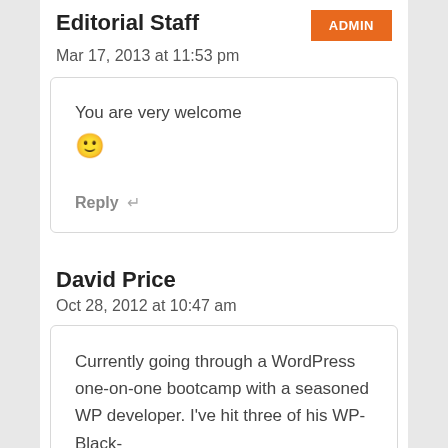Editorial Staff
Mar 17, 2013 at 11:53 pm
You are very welcome 🙂 Reply
David Price
Oct 28, 2012 at 10:47 am
Currently going through a WordPress one-on-one bootcamp with a seasoned WP developer. I've hit three of his WP-Black-